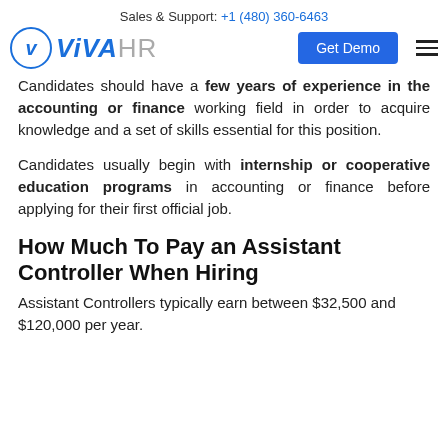Sales & Support: +1 (480) 360-6463
[Figure (logo): ViVA HR logo with circle V icon, blue Get Demo button, and hamburger menu]
Candidates should have a few years of experience in the accounting or finance working field in order to acquire knowledge and a set of skills essential for this position.
Candidates usually begin with internship or cooperative education programs in accounting or finance before applying for their first official job.
How Much To Pay an Assistant Controller When Hiring
Assistant Controllers typically earn between $32,500 and $120,000 per year.